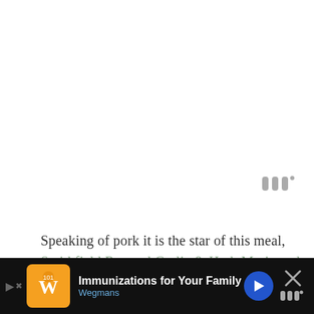[Figure (logo): Three vertical bar logo mark with degree symbol in gray, top right area]
Speaking of pork it is the star of this meal, Smithfield Roasted Garlic & Herb Marinated Fresh Pork Loin Filet.  There is so much flavor packed into this tender pork.
[Figure (photo): Food photo showing cubed orange/yellow squash or sweet potato in a bowl with a blue-striped cloth napkin and what appears to be pork on a light wooden surface]
[Figure (infographic): Advertisement bar: Wegmans ad for Immunizations for Your Family with orange logo, blue navigation arrow button, and close X button with logo mark]